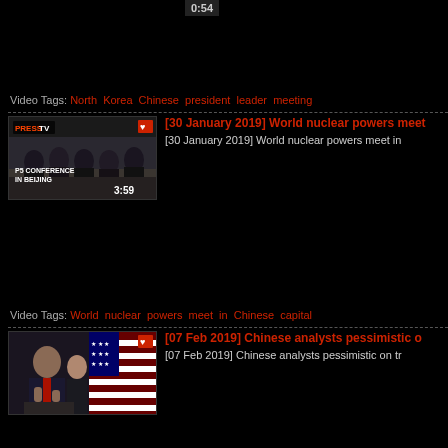0:54
Video Tags: North Korea Chinese president leader meeting
[Figure (screenshot): Video thumbnail showing P5 Conference in Beijing, people seated at conference table, PressTV badge, duration 3:59]
[30 January 2019] World nuclear powers meet in...
[30 January 2019] World nuclear powers meet in
Video Tags: World nuclear powers meet in Chinese capital
[Figure (screenshot): Video thumbnail showing person speaking at podium with American flags, duration 2:31]
[07 Feb 2019] Chinese analysts pessimistic o...
[07 Feb 2019] Chinese analysts pessimistic on tr